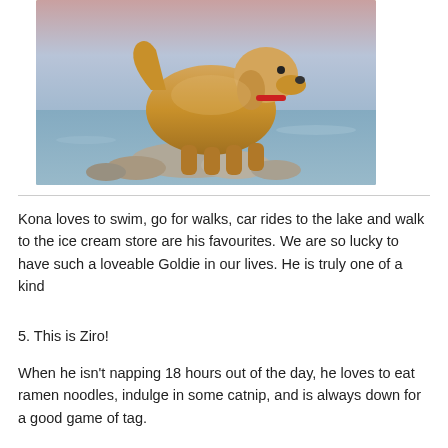[Figure (photo): A golden retriever dog standing on rocks at the edge of a lake or river, wearing a red collar. The background shows blue water and a pink/purple sky.]
Kona loves to swim, go for walks, car rides to the lake and walk to the ice cream store are his favourites. We are so lucky to have such a loveable Goldie in our lives. He is truly one of a kind
5. This is Ziro!
When he isn't napping 18 hours out of the day, he loves to eat ramen noodles, indulge in some catnip, and is always down for a good game of tag.